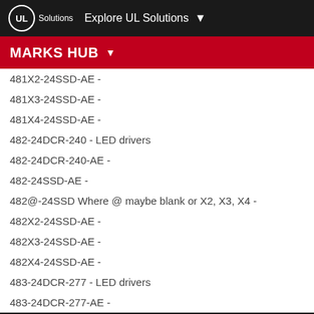UL Solutions | Explore UL Solutions
MARKS HUB
481X2-24SSD-AE -
481X3-24SSD-AE -
481X4-24SSD-AE -
482-24DCR-240 - LED drivers
482-24DCR-240-AE -
482-24SSD-AE -
482@-24SSD Where @ maybe blank or X2, X3, X4 -
482X2-24SSD-AE -
482X3-24SSD-AE -
482X4-24SSD-AE -
483-24DCR-277 - LED drivers
483-24DCR-277-AE -
Cookies on UL
We use cookies to personalize content and ads, to provide social media features and to analyze our traffic. We also share